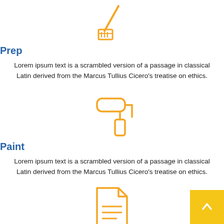[Figure (illustration): Yellow/orange paintbrush icon pointing downward-left]
Prep
Lorem ipsum text is a scrambled version of a passage in classical Latin derived from the Marcus Tullius Cicero’s treatise on ethics.
[Figure (illustration): Yellow/orange paint roller icon]
Paint
Lorem ipsum text is a scrambled version of a passage in classical Latin derived from the Marcus Tullius Cicero’s treatise on ethics.
[Figure (illustration): Yellow/orange document/file icon with lines]
[Figure (illustration): Yellow square back-to-top button with upward chevron arrow]